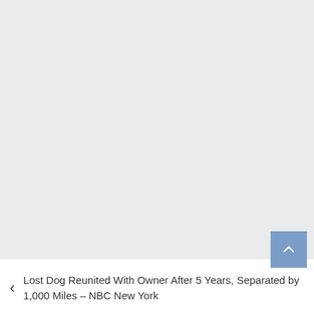[Figure (other): Large gray empty area, likely a placeholder for an image or ad unit]
Lost Dog Reunited With Owner After 5 Years, Separated by 1,000 Miles – NBC New York